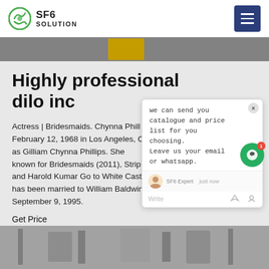SF6 SOLUTION
[Figure (photo): Top image strip showing outdoor scene, partially visible]
Highly professional dilo inc
Actress | Bridesmaids. Chynna Phillips was born on February 12, 1968 in Los Angeles, California, USA as Gilliam Chynna Phillips. She is best known for Bridesmaids (2011), Strip and Harold Kumar Go to White Castle (2004). She has been married to William Baldwin since September 9, 1995.
Get Price
[Figure (screenshot): Chat popup overlay: 'we can send you catalogue and price list for you choosing. Leave us your email or whatsapp.' with SF6 Expert agent shown]
[Figure (photo): Bottom image strip showing electrical substation equipment]